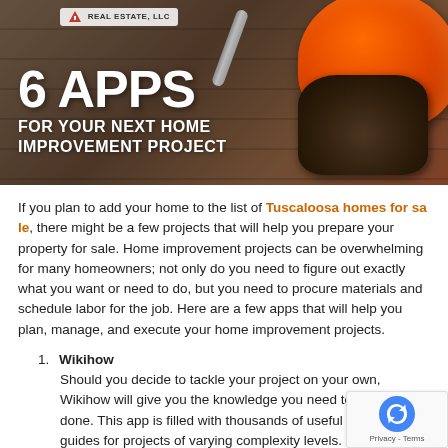[Figure (photo): Hero image with wooden plank background, orange hard hat, leather work gloves, and wrench. White text overlay reads '6 APPS FOR YOUR NEXT HOME IMPROVEMENT PROJECT'. A real estate LLC logo is in the top area.]
6 APPS FOR YOUR NEXT HOME IMPROVEMENT PROJECT
If you plan to add your home to the list of Tuscaloosa homes for sale, there might be a few projects that will help you prepare your property for sale. Home improvement projects can be overwhelming for many homeowners; not only do you need to figure out exactly what you want or need to do, but you need to procure materials and schedule labor for the job. Here are a few apps that will help you plan, manage, and execute your home improvement projects.
Wikihow
Should you decide to tackle your project on your own, Wikihow will give you the knowledge you need to get done. This app is filled with thousands of useful how guides for projects of varying complexity levels. Many include